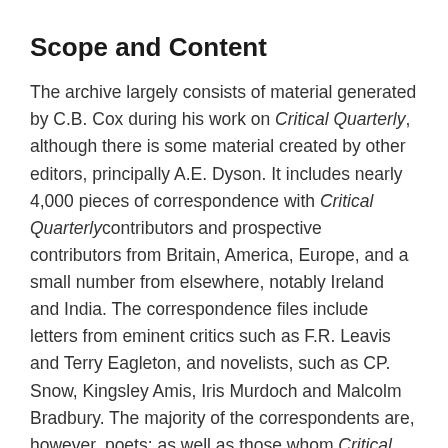Scope and Content
The archive largely consists of material generated by C.B. Cox during his work on Critical Quarterly, although there is some material created by other editors, principally A.E. Dyson. It includes nearly 4,000 pieces of correspondence with Critical Quarterly contributors and prospective contributors from Britain, America, Europe, and a small number from elsewhere, notably Ireland and India. The correspondence files include letters from eminent critics such as F.R. Leavis and Terry Eagleton, and novelists, such as CP. Snow, Kingsley Amis, Iris Murdoch and Malcolm Bradbury. The majority of the correspondents are, however, poets: as well as those whom Critical Quarterly helped to establish, such as